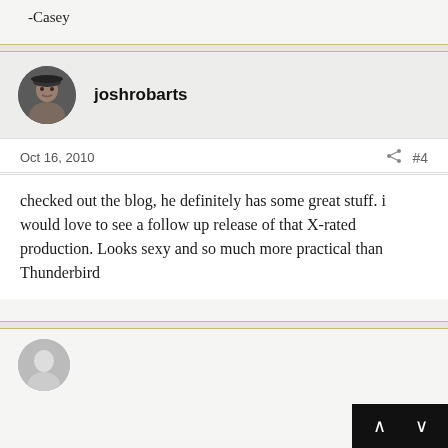-Casey
[Figure (photo): Circular avatar photo of user joshrobarts wearing a dark hat]
joshrobarts
Oct 16, 2010
#4
checked out the blog, he definitely has some great stuff. i would love to see a follow up release of that X-rated production. Looks sexy and so much more practical than Thunderbird